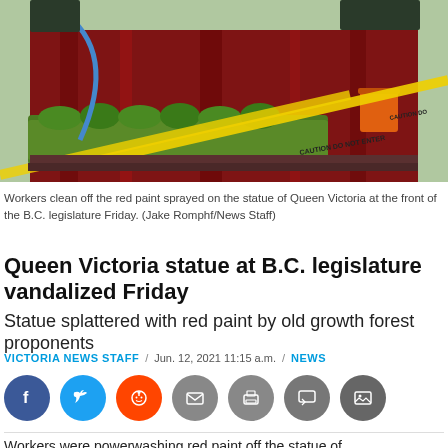[Figure (photo): Workers cleaning red paint off a statue base at the B.C. legislature. Red paint covers a dark stone monument, yellow caution tape visible, an orange bucket on the right, workers with pressure washer visible at top.]
Workers clean off the red paint sprayed on the statue of Queen Victoria at the front of the B.C. legislature Friday. (Jake Romphf/News Staff)
Queen Victoria statue at B.C. legislature vandalized Friday
Statue splattered with red paint by old growth forest proponents
VICTORIA NEWS STAFF  /  Jun. 12, 2021 11:15 a.m.  /  NEWS
[Figure (infographic): Social share buttons: Facebook (blue), Twitter (light blue), Reddit (orange), Email (grey), Print (grey), Comment (grey), Gallery (grey). Scroll-to-top button on right.]
Workers were powerwashing red paint off the statue of